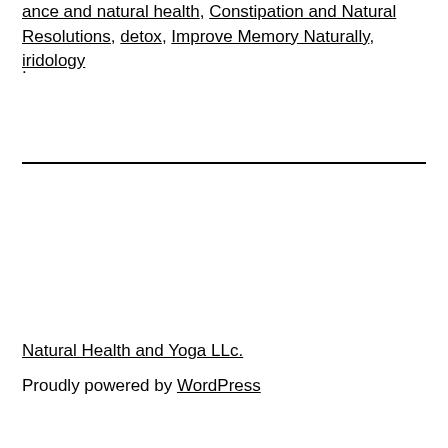ance and natural health, Constipation and Natural Resolutions, detox, Improve Memory Naturally, iridology
.
Natural Health and Yoga LLc.
Proudly powered by WordPress